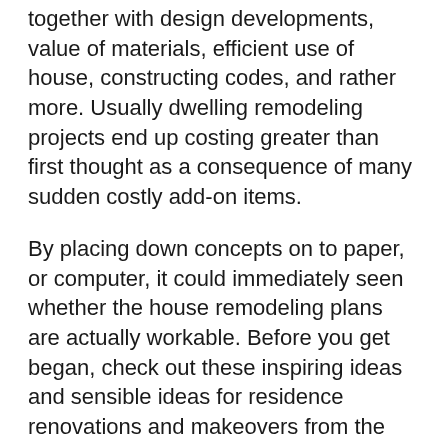together with design developments, value of materials, efficient use of house, constructing codes, and rather more. Usually dwelling remodeling projects end up costing greater than first thought as a consequence of many sudden costly add-on items.
By placing down concepts on to paper, or computer, it could immediately seen whether the house remodeling plans are actually workable. Before you get began, check out these inspiring ideas and sensible ideas for residence renovations and makeovers from the home consultants at Nation Dwelling.
You will save time and money with a nicely ready design. Whether you want to knock down walls to create an open idea, transform your entire house, a fire or another interior room, we'll create your dream space. That is once more why it is a good suggestion to not bounce in